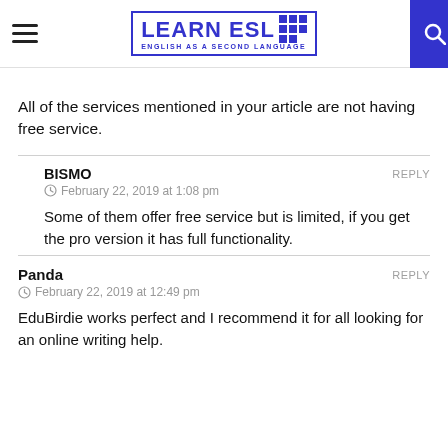LEARN ESL - ENGLISH AS A SECOND LANGUAGE
All of the services mentioned in your article are not having free service.
BISMO — REPLY — February 22, 2019 at 1:08 pm — Some of them offer free service but is limited, if you get the pro version it has full functionality.
Panda — REPLY — February 22, 2019 at 12:49 pm — EduBirdie works perfect and I recommend it for all looking for an online writing help.